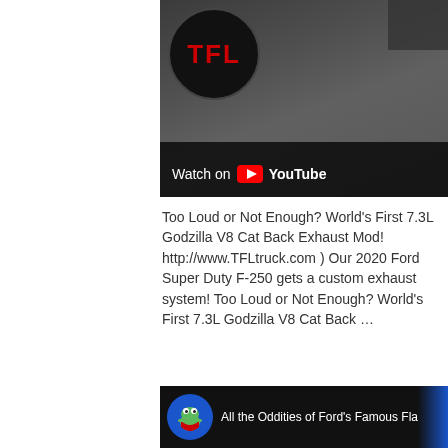[Figure (screenshot): YouTube video thumbnail showing TFL truck logo (red TFL text in black circle) with a person in background and 'Watch on YouTube' overlay at bottom left]
Too Loud or Not Enough? World's First 7.3L Godzilla V8 Cat Back Exhaust Mod! http://www.TFLtruck.com ) Our 2020 Ford Super Duty F-250 gets a custom exhaust system! Too Loud or Not Enough? World's First 7.3L Godzilla V8 Cat Back …
[Figure (screenshot): YouTube video thumbnail showing a frog mascot logo (blue circle) with title 'All the Oddities of Ford's Famous Flath' and a vintage Ford flathead engine in the foreground on dark background]